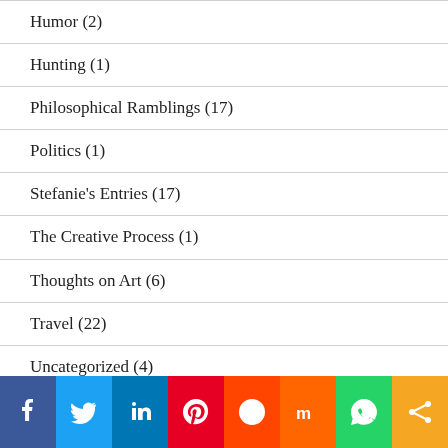Humor (2)
Hunting (1)
Philosophical Ramblings (17)
Politics (1)
Stefanie's Entries (17)
The Creative Process (1)
Thoughts on Art (6)
Travel (22)
Uncategorized (4)
Yard Sales (1)
[Figure (infographic): Social media sharing bar with icons: Facebook, Twitter, LinkedIn, Pinterest, Reddit, Mix, WhatsApp, Share]